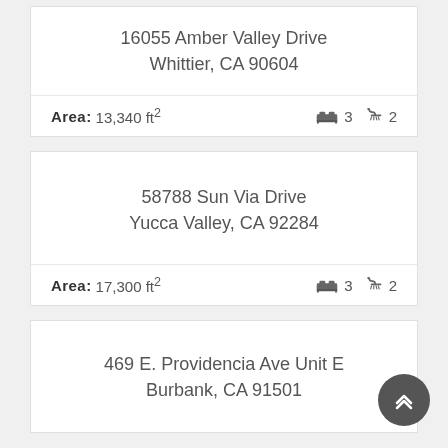16055 Amber Valley Drive
Whittier, CA 90604
Area: 13,340 ft²  🛏 3  🚿 2
58788 Sun Via Drive
Yucca Valley, CA 92284
Area: 17,300 ft²  🛏 3  🚿 2
469 E. Providencia Ave Unit E
Burbank, CA 91501